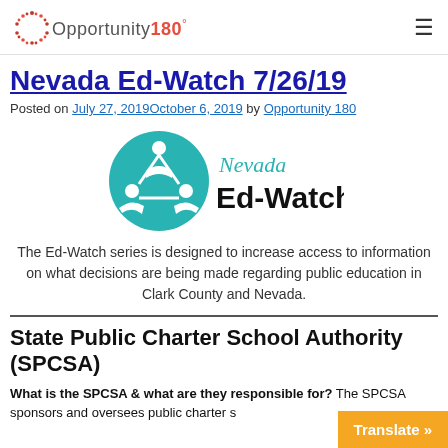Opportunity180°
Nevada Ed-Watch 7/26/19
Posted on July 27, 2019October 6, 2019 by Opportunity 180
[Figure (logo): Nevada Ed-Watch logo with teal circular emblem and text 'Nevada Ed-Watch']
The Ed-Watch series is designed to increase access to information on what decisions are being made regarding public education in Clark County and Nevada.
State Public Charter School Authority (SPCSA)
What is the SPCSA & what are they responsible for? The SPCSA sponsors and oversees public charter s